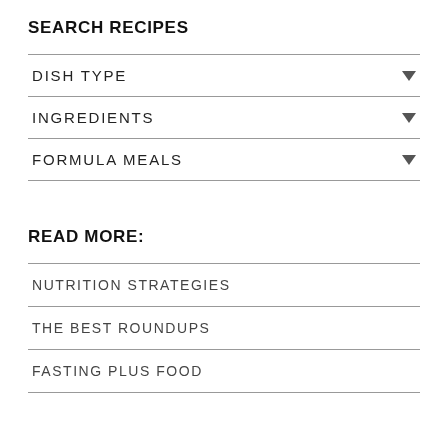SEARCH RECIPES
DISH TYPE
INGREDIENTS
FORMULA MEALS
READ MORE:
NUTRITION STRATEGIES
THE BEST ROUNDUPS
FASTING PLUS FOOD